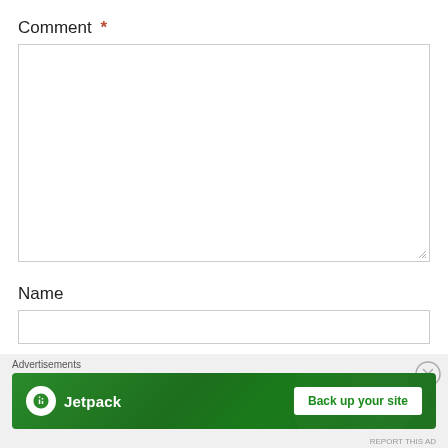Comment *
[Figure (screenshot): Empty comment textarea with resize handle in bottom-right corner]
Name
[Figure (screenshot): Name input field (partially visible)]
Advertisements
[Figure (infographic): Jetpack advertisement banner with green background, Jetpack logo on left and 'Back up your site' button on right]